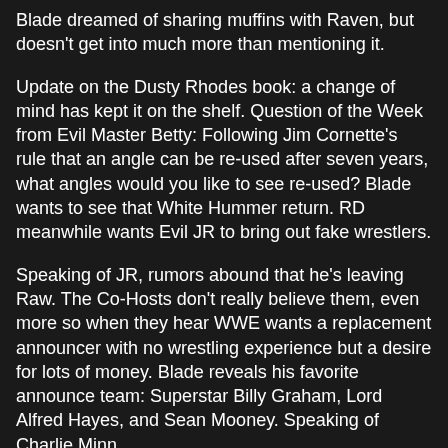Blade dreamed of sharing muffins with Raven, but doesn't get into much more than mentioning it.
Update on the Dusty Rhodes book: a change of mind has kept it on the shelf. Question of the Week from Evil Master Betty: Following Jim Cornette's rule that an angle can be re-used after seven years, what angles would you like to see re-used? Blade wants to see that White Hummer return. RD meanwhile wants Evil JR to bring out fake wrestlers.
Speaking of JR, rumors abound that he's leaving Raw. The Co-Hosts don't really believe them, even more so when they hear WWE wants a replacement announcer with no wrestling experience but a desire for lots of money. Blade reveals his favorite announce team: Superstar Billy Graham, Lord Alfred Hayes, and Sean Mooney. Speaking of Charlie Minn...
Raw had plenty of McMahons, such as Nipple H.
Seventeen Syllables of Fun:
Stephanie now blond.